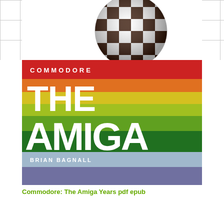[Figure (illustration): Book cover of 'Commodore: The Amiga Years' by Brian Bagnall. Top portion shows a 3D checkered sphere in black and white on a white grid background. Below is a colorful striped design with a red bar at top labeled COMMODORE, rainbow horizontal stripes (orange, yellow, green, dark green) with large white bold text reading THE AMIGA YEARS, a light blue author bar with BRIAN BAGNALL, and a purple/blue bottom bar.]
Commodore: The Amiga Years pdf epub